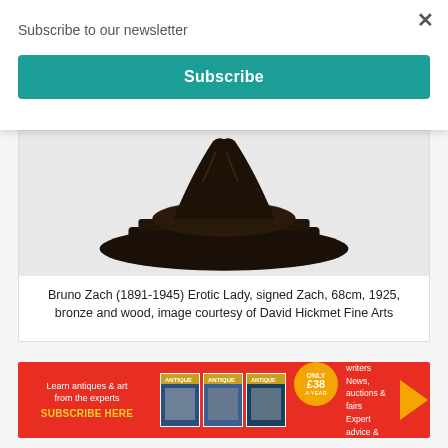Subscribe to our newsletter
Subscribe
[Figure (photo): Bronze sculpture base of Bruno Zach Erotic Lady artwork, showing the dark patinated bronze oval base and lower portion of the figure against a light grey background]
Bruno Zach (1891-1945) Erotic Lady, signed Zach, 68cm, 1925, bronze and wood, image courtesy of David Hickmet Fine Arts
[Figure (other): Advertisement banner for Antique magazine subscription. Red background with text 'Learn antiques & art from the experts SUBSCRIBE HERE', three magazine covers shown, yellow circle with 'ONLY £38 A YEAR', and text 'Top industry writers News, auctions & fairs Expert advice & guides']